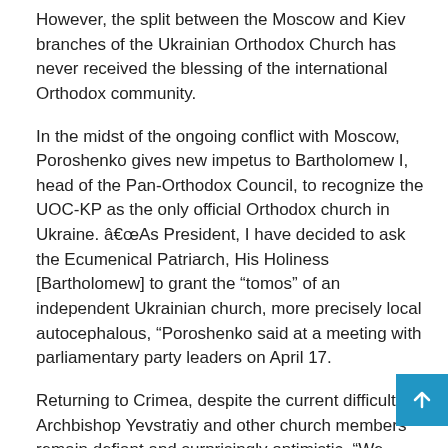However, the split between the Moscow and Kiev branches of the Ukrainian Orthodox Church has never received the blessing of the international Orthodox community.
In the midst of the ongoing conflict with Moscow, Poroshenko gives new impetus to Bartholomew I, head of the Pan-Orthodox Council, to recognize the UOC-KP as the only official Orthodox church in Ukraine. â€œAs President, I have decided to ask the Ecumenical Patriarch, His Holiness [Bartholomew] to grant the “tomos” of an independent Ukrainian church, more precisely local autocephalous, “Poroshenko said at a meeting with parliamentary party leaders on April 17.
Returning to Crimea, despite the current difficulties, Archbishop Yevstratiy and other church members remain defiant and surprisingly optimistic. “We believe that every day brings us closer to the time when in Simferopol, Sevastopol and other Crimean cities it will be possible to pray in Ukrainian
* CORRECTION: This article has been amended to remove